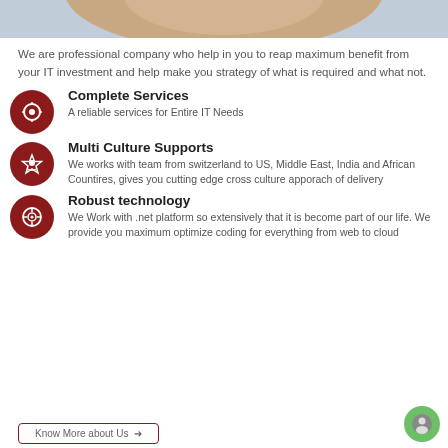[Figure (photo): Partial photo of a person with brown/reddish hair at the top of the page]
We are professional company who help in you to reap maximum benefit from your IT investment and help make you strategy of what is required and what not.
Complete Services
A reliable services for Entire IT Needs
Multi Culture Supports
We works with team from switzerland to US, Middle East, India and African Countires, gives you cutting edge cross culture apporach of delivery
Robust technology
We Work with .net platform so extensively that it is become part of our life. We provide you maximum optimize coding for everything from web to cloud
Know More about Us →